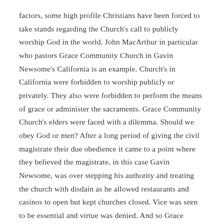factors, some high profile Christians have been forced to take stands regarding the Church's call to publicly worship God in the world. John MacArthur in particular who pastors Grace Community Church in Gavin Newsome's California is an example. Church's in California were forbidden to worship publicly or privately. They also were forbidden to perform the means of grace or administer the sacraments. Grace Community Church's elders were faced with a dilemma. Should we obey God or men? After a long period of giving the civil magistrate their due obedience it came to a point where they believed the magistrate, in this case Gavin Newsome, was over stepping his authority and treating the church with disdain as he allowed restaurants and casinos to open but kept churches closed. Vice was seen to be essential and virtue was denied. And so Grace Community Church opened their doors in defiance of the civil magistrates decree and they were prepared to bear the consequences for doing so. Pastor MacArthur now famously